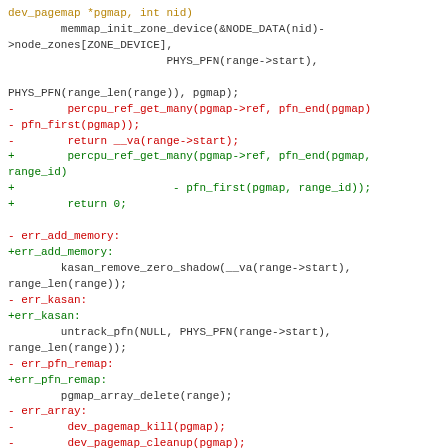Code diff showing changes to device pagemap memory initialization functions in Linux kernel source